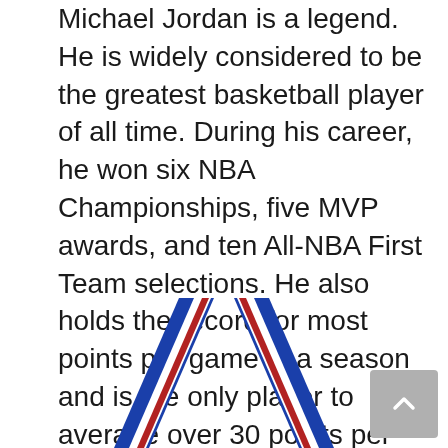Michael Jordan is a legend. He is widely considered to be the greatest basketball player of all time. During his career, he won six NBA Championships, five MVP awards, and ten All-NBA First Team selections. He also holds the record for most points per game in a season and is the only player to average over 30 points per game in his career. But how many gold medals does Michael Jordan have?
[Figure (photo): Bottom portion of an Olympic-style medal with red, white, and blue ribbon straps forming a V-shape]